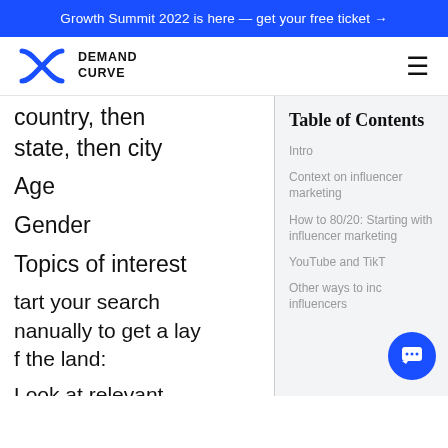Growth Summit 2022 is here — get your free ticket →
[Figure (logo): Demand Curve logo with stylized X icon and text DEMAND CURVE]
country, then state, then city
Age
Gender
Topics of interest
Start your search manually to get a lay of the land:
Look at relevant, high-performing
Table of Contents
Intro
Context on influencer marketing
How to 80/20: Starting with influencer marketing
YouTube and TikT...
Other ways to inc... influencers